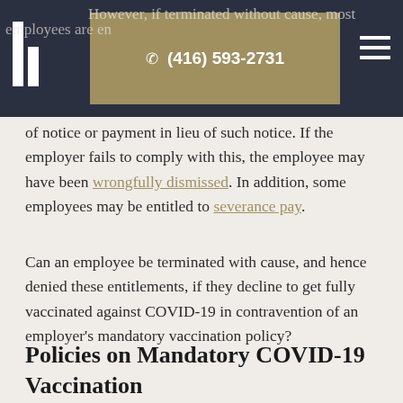(416) 593-2731 — navigation header with logo and phone button
However, if terminated without cause, most employees are entitled to a period of notice or payment in lieu of such notice. If the employer fails to comply with this, the employee may have been wrongfully dismissed. In addition, some employees may be entitled to severance pay.
Can an employee be terminated with cause, and hence denied these entitlements, if they decline to get fully vaccinated against COVID-19 in contravention of an employer's mandatory vaccination policy?
Policies on Mandatory COVID-19 Vaccination